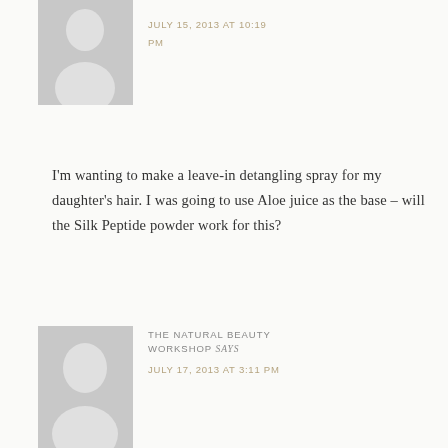[Figure (photo): Gray placeholder avatar silhouette image for anonymous user comment]
JULY 15, 2013 AT 10:19 PM
I'm wanting to make a leave-in detangling spray for my daughter's hair. I was going to use Aloe juice as the base – will the Silk Peptide powder work for this?
Reply
[Figure (photo): Gray placeholder avatar silhouette image for The Natural Beauty Workshop]
THE NATURAL BEAUTY WORKSHOP says
JULY 17, 2013 AT 3:11 PM